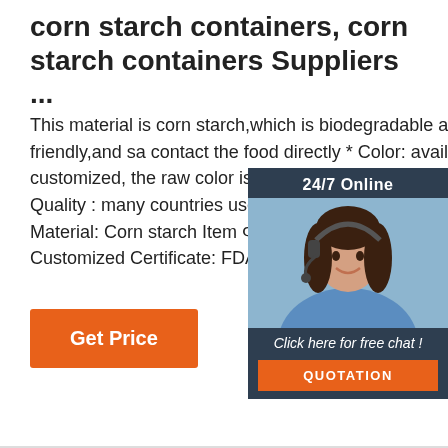corn starch containers, corn starch containers Suppliers ...
This material is corn starch,which is biodegradable and eco-friendly,and sa contact the food directly * Color: availa customized, the raw color is white and Safe and eco-friendly * Quality : many countries use our product Product Typ Lunch Box Material: Corn starch Item Φ248x248x80 mm Color: White, Light Customized Certificate: FDA ...
[Figure (screenshot): 24/7 online chat widget showing a woman with headset and a quotation button]
[Figure (logo): TOP logo with orange dots arranged in triangle shape above the letters TOP]